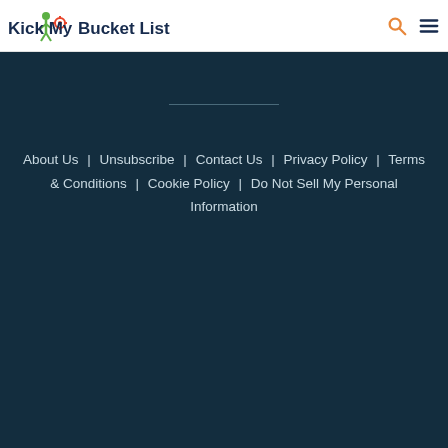Kick My Bucket List
About Us | Unsubscribe | Contact Us | Privacy Policy | Terms & Conditions | Cookie Policy | Do Not Sell My Personal Information